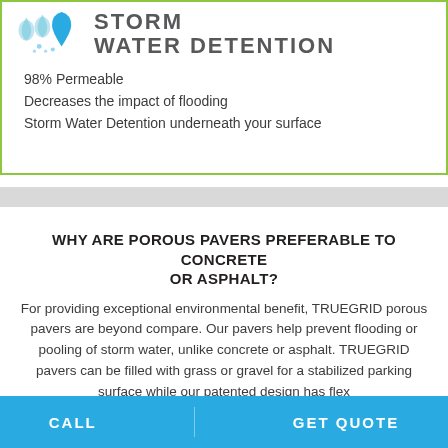[Figure (illustration): Blue water drop icons logo with text STORM WATER DETENTION in dark gray bold capital letters]
98% Permeable
Decreases the impact of flooding
Storm Water Detention underneath your surface
WHY ARE POROUS PAVERS PREFERABLE TO CONCRETE OR ASPHALT?
For providing exceptional environmental benefit, TRUEGRID porous pavers are beyond compare. Our pavers help prevent flooding or pooling of storm water, unlike concrete or asphalt. TRUEGRID pavers can be filled with grass or gravel for a stabilized parking surface while our patented design has fle...
CALL    GET QUOTE